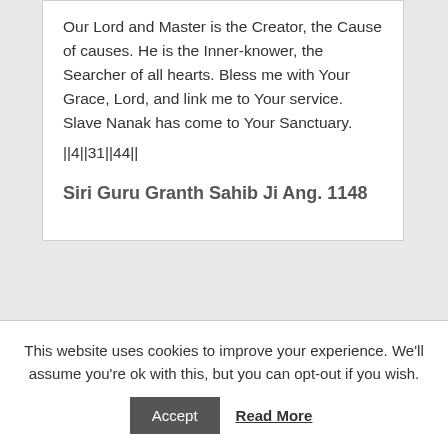Our Lord and Master is the Creator, the Cause of causes. He is the Inner-knower, the Searcher of all hearts. Bless me with Your Grace, Lord, and link me to Your service. Slave Nanak has come to Your Sanctuary.
||4||31||44||
Siri Guru Granth Sahib Ji Ang. 1148
This website uses cookies to improve your experience. We'll assume you're ok with this, but you can opt-out if you wish.